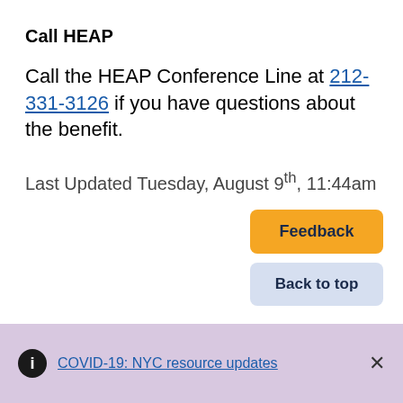Call HEAP
Call the HEAP Conference Line at 212-331-3126 if you have questions about the benefit.
Last Updated Tuesday, August 9th, 11:44am
Feedback
Back to top
COVID-19: NYC resource updates